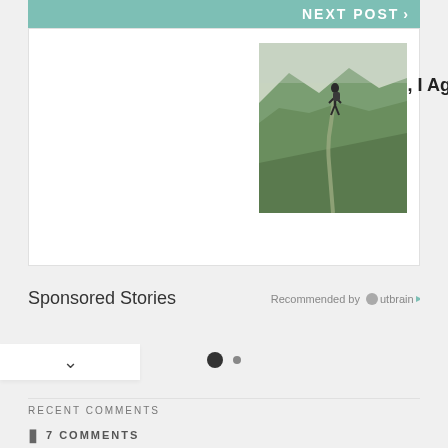NEXT POST >
For Once, I Agree with Steve Skojec ("Negativity")
MARCH 9, 2021
[Figure (photo): A mountain hiking trail with green vegetation and a hiker, viewed from behind]
Sponsored Stories
Recommended by Outbrain
RECENT COMMENTS
7 COMMENTS